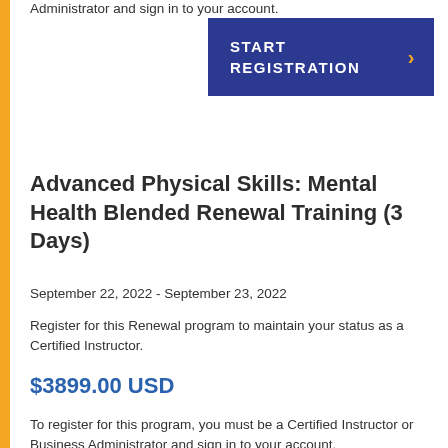Administrator and sign in to your account.
[Figure (other): Dark blue button with white bold text 'START REGISTRATION' and an orange right arrow chevron]
Advanced Physical Skills: Mental Health Blended Renewal Training (3 Days)
September 22, 2022  -  September 23, 2022
Register for this Renewal program to maintain your status as a Certified Instructor.
$3899.00 USD
To register for this program, you must be a Certified Instructor or Business Administrator and sign in to your account.